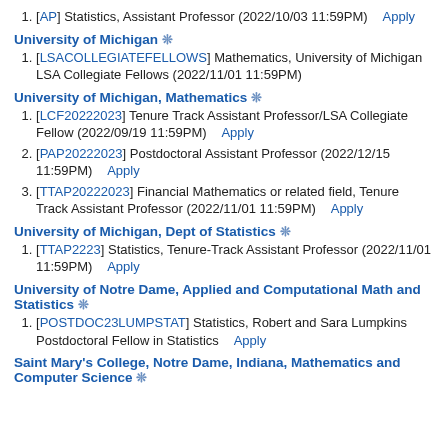1. [AP] Statistics, Assistant Professor (2022/10/03 11:59PM)   Apply
University of Michigan ❊
1. [LSACOLLEGIATEFELLOWS] Mathematics, University of Michigan LSA Collegiate Fellows (2022/11/01 11:59PM)
University of Michigan, Mathematics ❊
1. [LCF20222023] Tenure Track Assistant Professor/LSA Collegiate Fellow (2022/09/19 11:59PM)   Apply
2. [PAP20222023] Postdoctoral Assistant Professor (2022/12/15 11:59PM)   Apply
3. [TTAP20222023] Financial Mathematics or related field, Tenure Track Assistant Professor (2022/11/01 11:59PM)   Apply
University of Michigan, Dept of Statistics ❊
1. [TTAP2223] Statistics, Tenure-Track Assistant Professor (2022/11/01 11:59PM)   Apply
University of Notre Dame, Applied and Computational Math and Statistics ❊
1. [POSTDOC23LUMPSTAT] Statistics, Robert and Sara Lumpkins Postdoctoral Fellow in Statistics   Apply
Saint Mary's College, Notre Dame, Indiana, Mathematics and Computer Science ❊